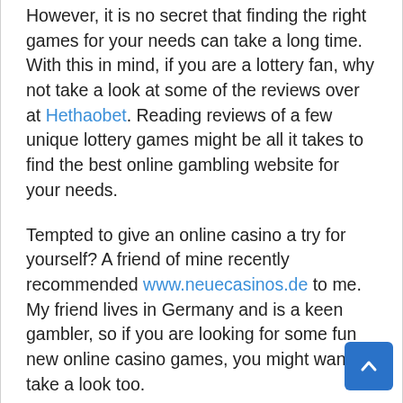However, it is no secret that finding the right games for your needs can take a long time. With this in mind, if you are a lottery fan, why not take a look at some of the reviews over at Hethaobet. Reading reviews of a few unique lottery games might be all it takes to find the best online gambling website for your needs.
Tempted to give an online casino a try for yourself? A friend of mine recently recommended www.neuecasinos.de to me. My friend lives in Germany and is a keen gambler, so if you are looking for some fun new online casino games, you might want to take a look too.
Gambling is a high-margin, cash-rich business. According to Mecham, each terminal at a thriving cafe typically grosses $1,000 to $5,000 per month. A medium-size business with, say, 100 machines would therefore g... around $250,000 a month, or in the ballpark of $3 ...